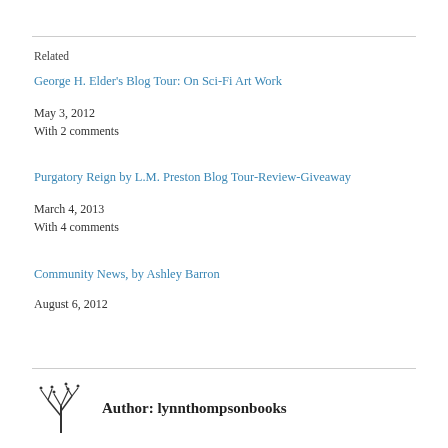Related
George H. Elder's Blog Tour: On Sci-Fi Art Work
May 3, 2012
With 2 comments
Purgatory Reign by L.M. Preston Blog Tour-Review-Giveaway
March 4, 2013
With 4 comments
Community News, by Ashley Barron
August 6, 2012
Author: lynnthompsonbooks